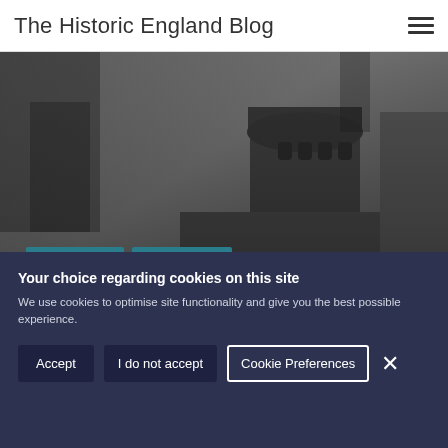The Historic England Blog
[Figure (photo): Black and white photograph of a historic English castle with a round tower, gothic architecture, bare trees in background]
ARCHAEOLOGY
ARCHITECTURE
7 Spooky Tales from England's Haunted Castles
BY HISTORIC ENGLAND
24 OCTOBER 2016
COMMENTS 17
Your choice regarding cookies on this site
We use cookies to optimise site functionality and give you the best possible experience.
Accept  I do not accept  Cookie Preferences  ×